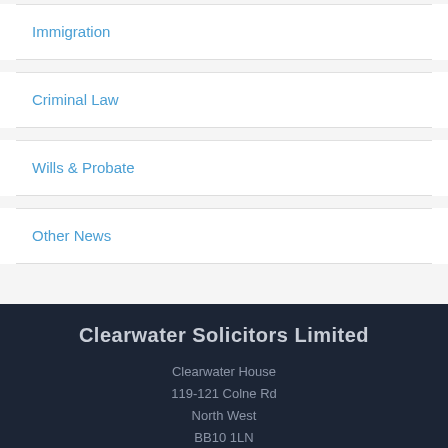Immigration
Criminal Law
Wills & Probate
Other News
Clearwater Solicitors Limited
Clearwater House
119-121 Colne Rd
North West
BB10 1LN
T: 08000 430 430
F: 01282 835029/835527